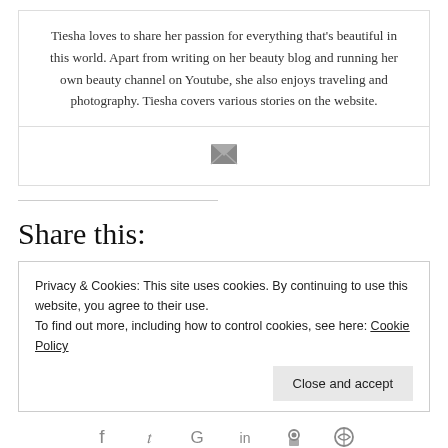Tiesha loves to share her passion for everything that's beautiful in this world. Apart from writing on her beauty blog and running her own beauty channel on Youtube, she also enjoys traveling and photography. Tiesha covers various stories on the website.
[Figure (other): Email/envelope icon in gray]
Share this:
Privacy & Cookies: This site uses cookies. By continuing to use this website, you agree to their use.
To find out more, including how to control cookies, see here: Cookie Policy
[Figure (other): Social sharing icons: Facebook, Twitter, Google+, LinkedIn, Reddit, WhatsApp]